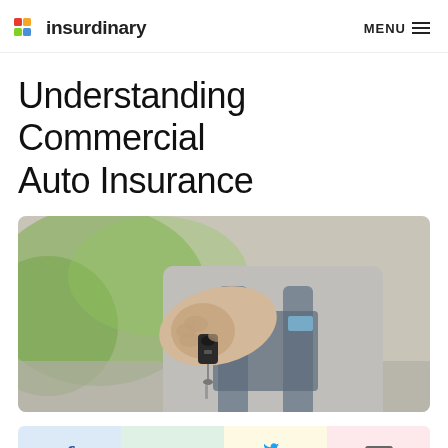insurdinary  MENU
Understanding Commercial Auto Insurance
[Figure (photo): A person in a grey work uniform and overalls holding out a set of car keys toward the camera, with a blurred outdoor background.]
[Figure (infographic): Social sharing bar with four buttons: Facebook (blue background), LinkedIn (green background), Twitter (yellow background), Email (pink background).]